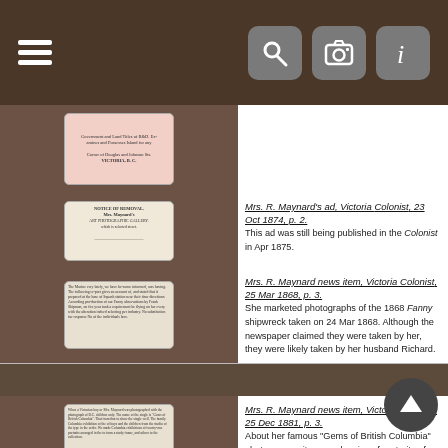Navigation header with hamburger menu and search/camera/info icons
[Figure (screenshot): Thumbnail image of a pink document with text about Government and Land Titles, Victoria B.C.]
[Figure (screenshot): Thumbnail of Mrs. Maynard's ad notice of removal newspaper clipping]
Mrs. R. Maynard's ad, Victoria Colonist, 23 Oct 1874, p. 2. This ad was still being published in the Colonist in Apr 1875.
[Figure (screenshot): Thumbnail of Mrs. R. Maynard news item newspaper clipping]
Mrs. R. Maynard news item, Victoria Colonist, 25 Mar 1868, p. 3. She marketed photographs of the 1868 Fanny shipwreck taken on 24 Mar 1868. Although the newspaper claimed they were taken by her, they were likely taken by her husband Richard.
[Figure (screenshot): Thumbnail of Mrs. R. Maynard news item newspaper clipping about Gems of British Columbia]
Mrs. R. Maynard news item, Victoria Colonist, 25 Dec 1881, p. 3. About her famous "Gems of British Columbia" photo composite annual series of portraits of children.
[Figure (map): Thumbnail of fire insurance plan map showing lots 716 717 on Pandora Avenue]
Detail from fire insurance plan showing the Maynard Building, 717 Pandora Avenue, Victoria, 1911-1913.